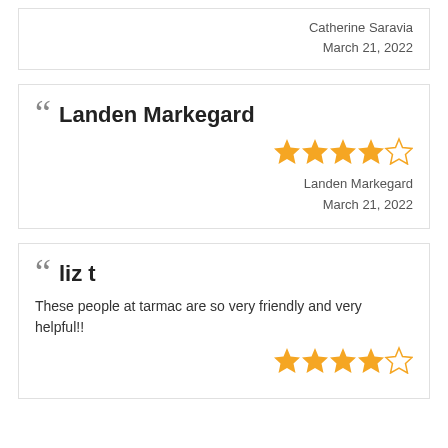Catherine Saravia
March 21, 2022
Landen Markegard
[Figure (other): 4.5 star rating (4 filled stars, 1 empty star)]
Landen Markegard
March 21, 2022
liz t
These people at tarmac are so very friendly and very helpful!!
[Figure (other): 4.5 star rating (4 filled stars, 1 empty star)]